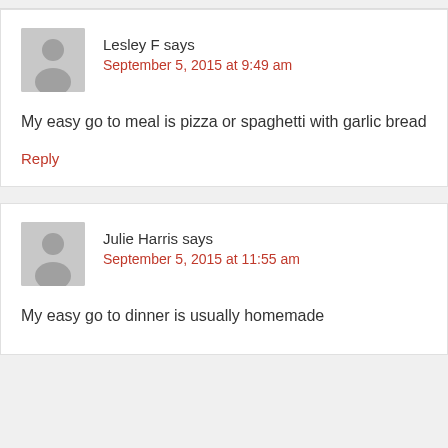Lesley F says
September 5, 2015 at 9:49 am
My easy go to meal is pizza or spaghetti with garlic bread
Reply
Julie Harris says
September 5, 2015 at 11:55 am
My easy go to dinner is usually homemade